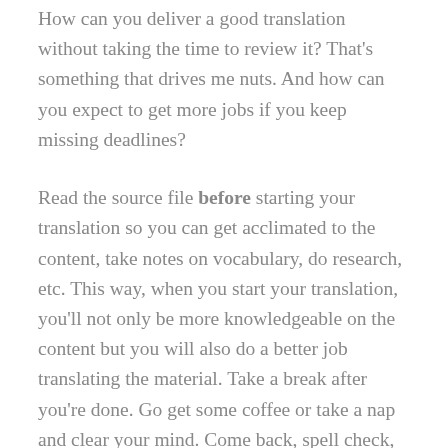How can you deliver a good translation without taking the time to review it? That's something that drives me nuts. And how can you expect to get more jobs if you keep missing deadlines?
Read the source file before starting your translation so you can get acclimated to the content, take notes on vocabulary, do research, etc. This way, when you start your translation, you'll not only be more knowledgeable on the content but you will also do a better job translating the material. Take a break after you're done. Go get some coffee or take a nap and clear your mind. Come back, spell check, read the translation to make sure it 'sounds' good and it flows nicely, spell check again, and then deliver your file.